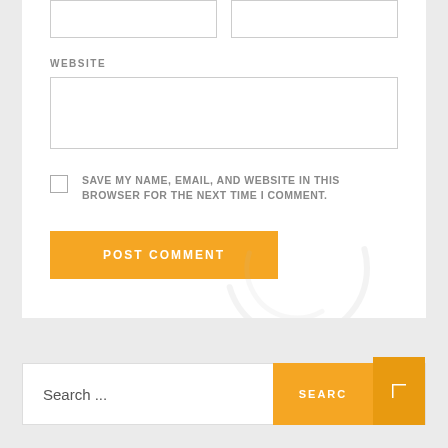WEBSITE
[Figure (screenshot): Form fields: two small input boxes at top, one wide website input box, a checkbox with save label, a post comment button, and a search bar at bottom with orange search button]
SAVE MY NAME, EMAIL, AND WEBSITE IN THIS BROWSER FOR THE NEXT TIME I COMMENT.
POST COMMENT
Search ...
SEARCH